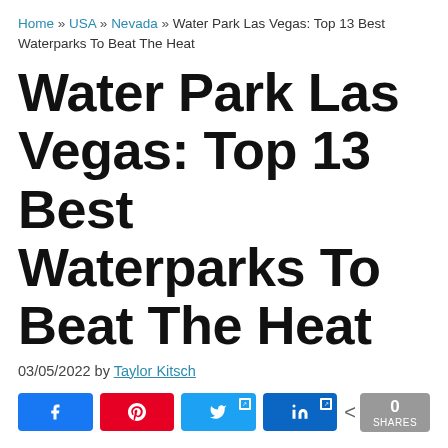Home » USA » Nevada » Water Park Las Vegas: Top 13 Best Waterparks To Beat The Heat
Water Park Las Vegas: Top 13 Best Waterparks To Beat The Heat
03/05/2022 by Taylor Kitsch
[Figure (other): Social share buttons: Facebook, Pinterest, Twitter, LinkedIn, share count 0 SHARES]
5/5 - (1 vote)